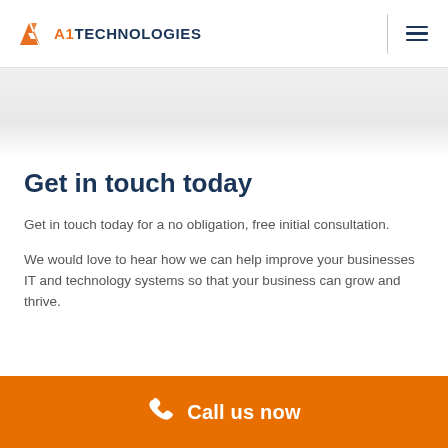A1 TECHNOLOGIES
Get in touch today
Get in touch today for a no obligation, free initial consultation.
We would love to hear how we can help improve your businesses IT and technology systems so that your business can grow and thrive.
Call us now